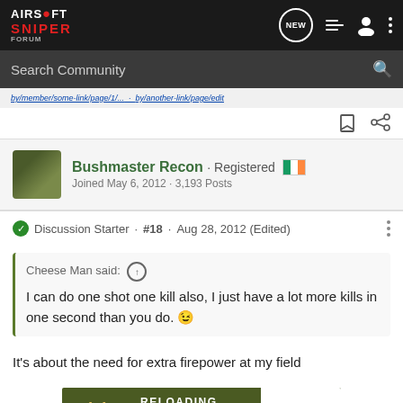Airsoft Sniper Forum - navigation bar
Search Community
(truncated URL / breadcrumb line)
Bushmaster Recon · Registered 🇮🇪
Joined May 6, 2012 · 3,193 Posts
Discussion Starter · #18 · Aug 28, 2012 (Edited)
Cheese Man said: ↑
I can do one shot one kill also, I just have a lot more kills in one second than you do. 😉
It's about the need for extra firepower at my field
I'm not t... | was
[Figure (screenshot): Cabela's Reloading Supplies advertisement banner with 'SHOP NOW' button]